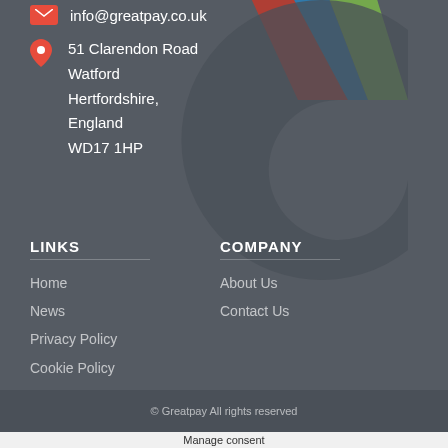info@greatpay.co.uk
51 Clarendon Road
Watford
Hertfordshire,
England
WD17 1HP
[Figure (logo): Large stylized letter G watermark logo in dark gray with colorful stripe accents (red, blue, green) for Greatpay]
LINKS
Home
News
Privacy Policy
Cookie Policy
COMPANY
About Us
Contact Us
© Greatpay All rights reserved
Manage consent